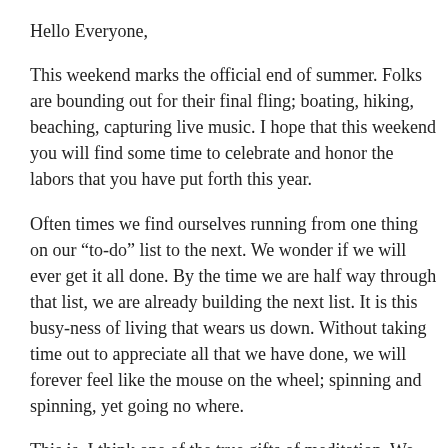Hello Everyone,
This weekend marks the official end of summer. Folks are bounding out for their final fling; boating, hiking, beaching, capturing live music. I hope that this weekend you will find some time to celebrate and honor the labors that you have put forth this year.
Often times we find ourselves running from one thing on our “to-do” list to the next. We wonder if we will ever get it all done. By the time we are half way through that list, we are already building the next list. It is this busy-ness of living that wears us down. Without taking time out to appreciate all that we have done, we will forever feel like the mouse on the wheel; spinning and spinning, yet going no where.
This is, I think one of the true gifts of meditation. We set aside time to be in stillness. We give ourselves permission to step off the spinning wheel of the doing and busy-ness of living. This is